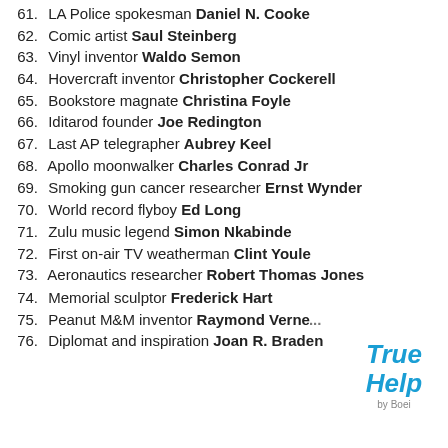61. LA Police spokesman Daniel N. Cooke
62. Comic artist Saul Steinberg
63. Vinyl inventor Waldo Semon
64. Hovercraft inventor Christopher Cockerell
65. Bookstore magnate Christina Foyle
66. Iditarod founder Joe Redington
67. Last AP telegrapher Aubrey Keel
68. Apollo moonwalker Charles Conrad Jr
69. Smoking gun cancer researcher Ernst Wynder
70. World record flyboy Ed Long
71. Zulu music legend Simon Nkabinde
72. First on-air TV weatherman Clint Youle
73. Aeronautics researcher Robert Thomas Jones
74. Memorial sculptor Frederick Hart
75. Peanut M&M inventor Raymond Verne...
76. Diplomat and inspiration Joan R. Braden
[Figure (logo): True Help by Boei logo in blue italic text]